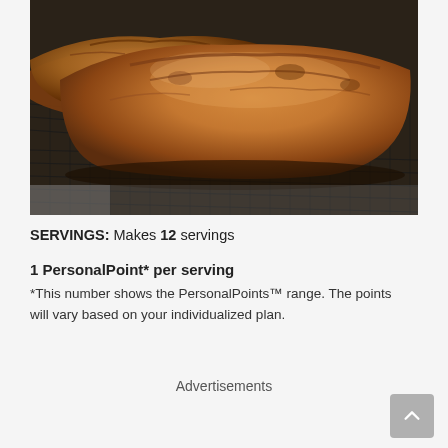[Figure (photo): Two loaves of golden-brown banana bread cooling on a wire rack, photographed close-up from above at an angle. The bread is dark golden on the crust with a rustic, cracked top.]
SERVINGS: Makes 12 servings
1 PersonalPoint* per serving
*This number shows the PersonalPoints™ range. The points will vary based on your individualized plan.
Advertisements